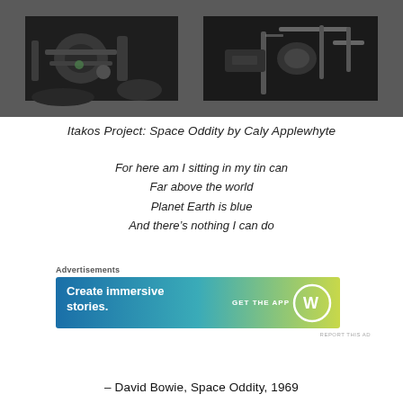[Figure (photo): Two black and white photographs side by side showing mechanical/robotic space equipment details, set against a dark grey banner background]
Itakos Project: Space Oddity by Caly Applewhyte
For here am I sitting in my tin can
Far above the world
Planet Earth is blue
And there's nothing I can do
Advertisements
[Figure (screenshot): WordPress advertisement banner: 'Create immersive stories.' with 'GET THE APP' and WordPress logo on gradient blue-green-yellow background]
REPORT THIS AD
– David Bowie, Space Oddity, 1969